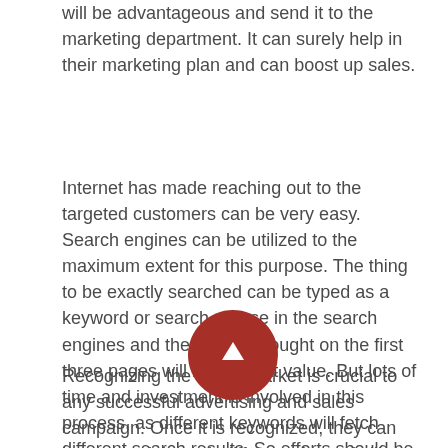will be advantageous and send it to the marketing department. It can surely help in their marketing plan and can boost up sales.
Internet has made reaching out to the targeted customers can be very easy. Search engines can be utilized to the maximum extent for this purpose. The thing to be exactly searched can be typed as a keyword or search phrase in the search engines and the results brought on the first three pages will be of great value. But lots of time and investment is involved in this process, as different keywords will fetch different search results. So efforts should be made to finally get what is desired.
[Figure (other): A dark red circular button with an upward-pointing arrow icon in the center.]
Recognizing the target market is crucial to any successful advertising and sales campaign. Once it is recognized, they can be reached through different channels like websites, newspapers, magazines, etc.